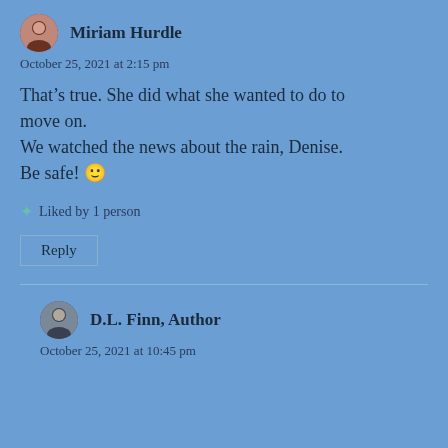Miriam Hurdle
October 25, 2021 at 2:15 pm
That’s true. She did what she wanted to do to move on.
We watched the news about the rain, Denise. Be safe! 🙂
Liked by 1 person
Reply
D.L. Finn, Author
October 25, 2021 at 10:45 pm